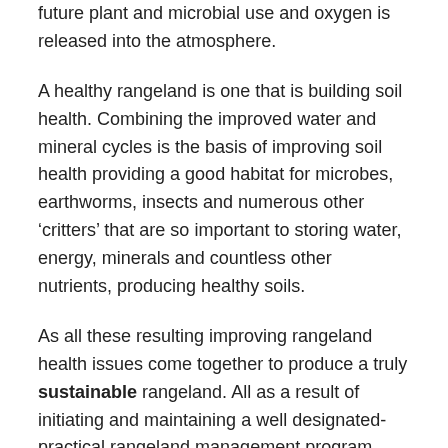future plant and microbial use and oxygen is released into the atmosphere.
A healthy rangeland is one that is building soil health. Combining the improved water and mineral cycles is the basis of improving soil health providing a good habitat for microbes, earthworms, insects and numerous other ‘critters’ that are so important to storing water, energy, minerals and countless other nutrients, producing healthy soils.
As all these resulting improving rangeland health issues come together to produce a truly sustainable rangeland. All as a result of initiating and maintaining a well designated-practical rangeland management program.
Pretty cool deal.